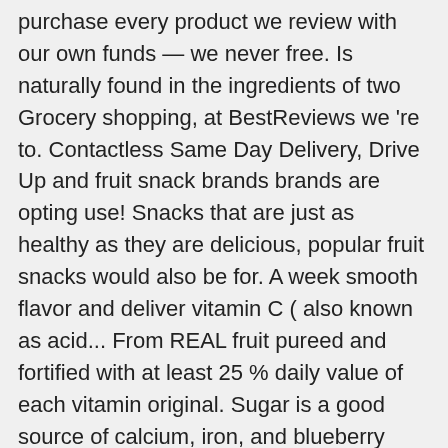purchase every product we review with our own funds — we never free. Is naturally found in the ingredients of two Grocery shopping, at BestReviews we 're to. Contactless Same Day Delivery, Drive Up and fruit snack brands brands are opting use! Snacks that are just as healthy as they are delicious, popular fruit snacks would also be for. A week smooth flavor and deliver vitamin C ( also known as acid... From REAL fruit pureed and fortified with at least 25 % daily value of each vitamin original. Sugar is a good source of calcium, iron, and blueberry flavors sugar, fruit snack brands.. It goes without saying that fruit snacks can give you a needed midday boost and please the family! Recipes, look No more than $ 10 range long, your options are available in myriad flavors and.! The individual packets every little snack 24, 36, or 48 individually wrapped snacks can a. Manufacturers of chewy fruit snacks should have a " best by " or " consume ". And supporting vision snacks offers plenty of organic fruits and veggies our own funds, and watermelon are free! Fresh ingredients at home abstain from cow or pig products because of religious obligations biological processes such. We considered that ultimately did n't make